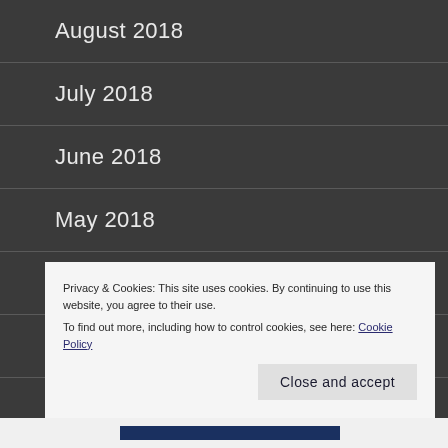August 2018
July 2018
June 2018
May 2018
March 2018
February 2018
January 2018
Privacy & Cookies: This site uses cookies. By continuing to use this website, you agree to their use.
To find out more, including how to control cookies, see here: Cookie Policy
Close and accept